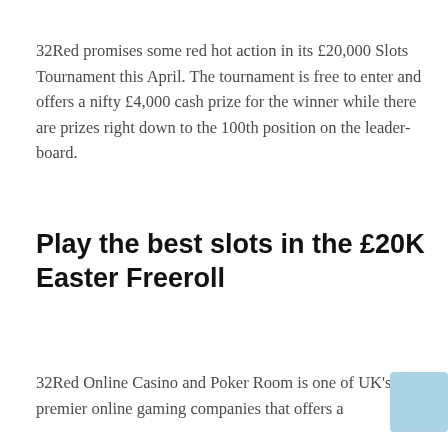32Red promises some red hot action in its £20,000 Slots Tournament this April. The tournament is free to enter and offers a nifty £4,000 cash prize for the winner while there are prizes right down to the 100th position on the leader-board.
Play the best slots in the £20K Easter Freeroll
32Red Online Casino and Poker Room is one of UK's premier online gaming companies that offers a